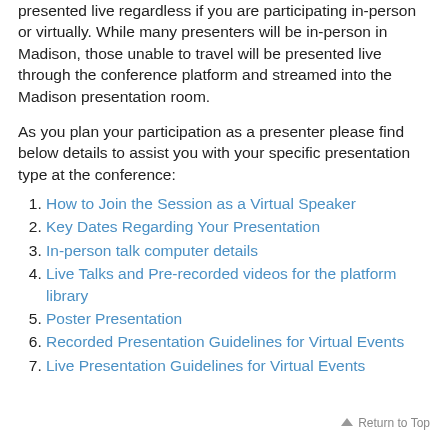presented live regardless if you are participating in-person or virtually. While many presenters will be in-person in Madison, those unable to travel will be presented live through the conference platform and streamed into the Madison presentation room.
As you plan your participation as a presenter please find below details to assist you with your specific presentation type at the conference:
How to Join the Session as a Virtual Speaker
Key Dates Regarding Your Presentation
In-person talk computer details
Live Talks and Pre-recorded videos for the platform library
Poster Presentation
Recorded Presentation Guidelines for Virtual Events
Live Presentation Guidelines for Virtual Events